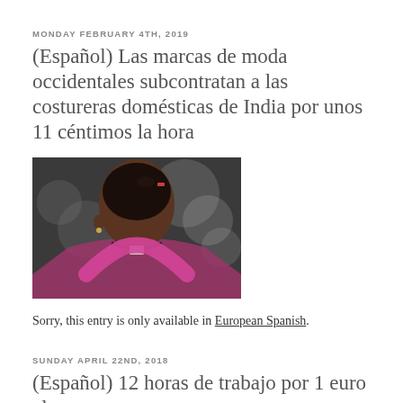MONDAY FEBRUARY 4TH, 2019
(Español) Las marcas de moda occidentales subcontratan a las costureras domésticas de India por unos 11 céntimos la hora
[Figure (photo): Back view of a woman with dark hair in a bun, wearing a pink top, with a lanyard around her neck. Blurred background suggesting an event or factory setting.]
Sorry, this entry is only available in European Spanish.
SUNDAY APRIL 22ND, 2018
(Español) 12 horas de trabajo por 1 euro al